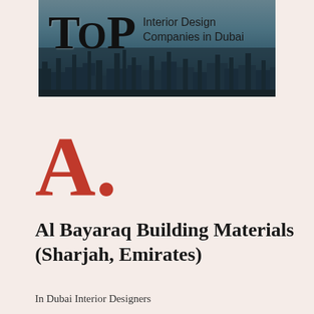[Figure (illustration): Banner image showing 'TOP Interior Design Companies in Dubai' with a Dubai cityscape skyline background]
A.
Al Bayaraq Building Materials (Sharjah, Emirates)
In Dubai Interior Designers